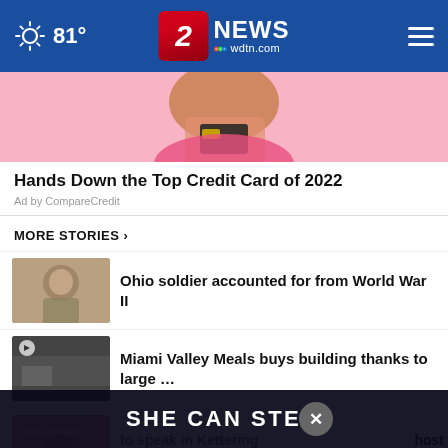81° | 2 NEWS wdtn.com
[Figure (photo): Person with curly hair holding a credit card in front of pink background]
Hands Down the Top Credit Card of 2022
Ad by CompareCredit
MORE STORIES ›
Ohio soldier accounted for from World War II
Miami Valley Meals buys building thanks to large ...
to speak in Kettering
[Figure (screenshot): SHE CAN STEM advertisement overlay with close button and partial 'host' text visible]